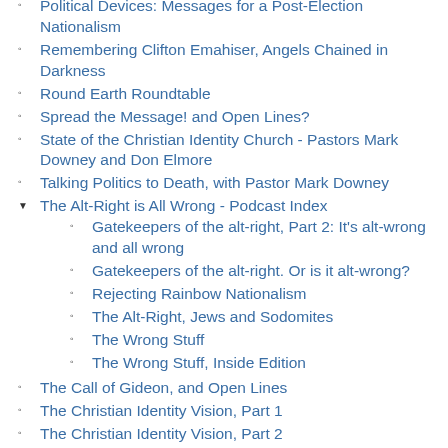Political Devices: Messages for a Post-Election Nationalism
Remembering Clifton Emahiser, Angels Chained in Darkness
Round Earth Roundtable
Spread the Message! and Open Lines?
State of the Christian Identity Church - Pastors Mark Downey and Don Elmore
Talking Politics to Death, with Pastor Mark Downey
The Alt-Right is All Wrong - Podcast Index
Gatekeepers of the alt-right, Part 2: It's alt-wrong and all wrong
Gatekeepers of the alt-right. Or is it alt-wrong?
Rejecting Rainbow Nationalism
The Alt-Right, Jews and Sodomites
The Wrong Stuff
The Wrong Stuff, Inside Edition
The Call of Gideon, and Open Lines
The Christian Identity Vision, Part 1
The Christian Identity Vision, Part 2
The Curse of White Genocide, Part 1